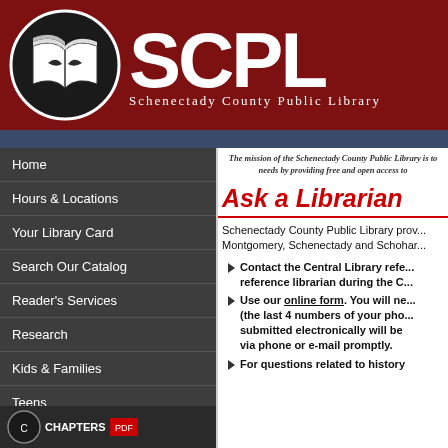[Figure (logo): SCPL Schenectady County Public Library logo with open book icon on dark red banner]
The mission of the Schenectady County Public Library is to serve the needs by providing free and open access to
Home
Hours & Locations
Your Library Card
Search Our Catalog
Reader's Services
Research
Kids & Families
Teens
Events & Class Registration
E-Content
Ask a Librarian
Schenectady County Public Library provides reference services to residents of Montgomery, Schenectady and Schoharie
Contact the Central Library reference librarian during the Co
Use our online form. You will need (the last 4 numbers of your phone submitted electronically will be via phone or e-mail promptly.
For questions related to history